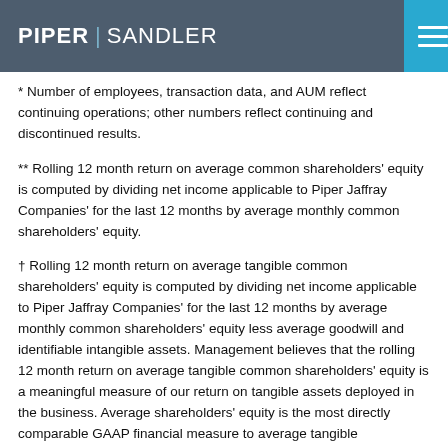PIPER | SANDLER
* Number of employees, transaction data, and AUM reflect continuing operations; other numbers reflect continuing and discontinued results.
** Rolling 12 month return on average common shareholders' equity is computed by dividing net income applicable to Piper Jaffray Companies' for the last 12 months by average monthly common shareholders' equity.
† Rolling 12 month return on average tangible common shareholders' equity is computed by dividing net income applicable to Piper Jaffray Companies' for the last 12 months by average monthly common shareholders' equity less average goodwill and identifiable intangible assets. Management believes that the rolling 12 month return on average tangible common shareholders' equity is a meaningful measure of our return on tangible assets deployed in the business. Average shareholders' equity is the most directly comparable GAAP financial measure to average tangible